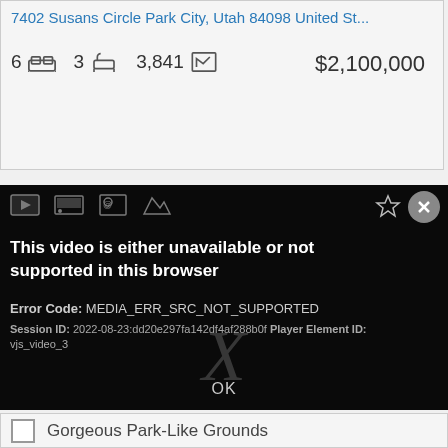7402 Susans Circle Park City, Utah 84098 United St...
6 beds  3 baths  3,841 sqft  $2,100,000
[Figure (screenshot): Video player error dialog on dark background showing: This video is either unavailable or not supported in this browser. Error Code: MEDIA_ERR_SRC_NOT_SUPPORTED. Session ID: 2022-08-23:dd20e297fa142df4af288b0f Player Element ID: vjs_video_3. OK button at bottom.]
Gorgeous Park-Like Grounds